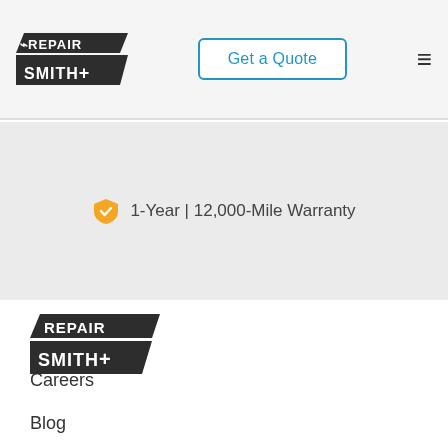RepairSmith | Get a Quote | Navigation
1-Year | 12,000-Mile Warranty
[Figure (logo): RepairSmith logo (large) in footer area]
Careers
Blog
About Us